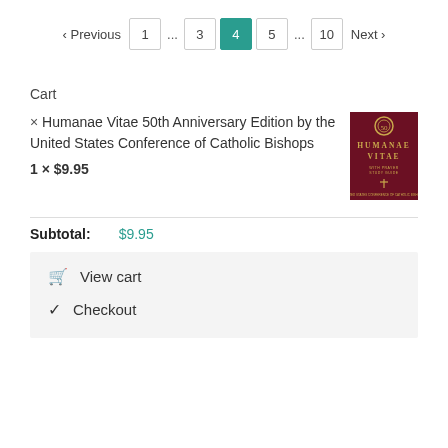< Previous  1  ...  3  4  5  ...  10  Next >
Cart
× Humanae Vitae 50th Anniversary Edition by the United States Conference of Catholic Bishops
1 × $9.95
[Figure (illustration): Book cover of Humanae Vitae 50th Anniversary Edition — dark maroon/burgundy cover with gold text reading HUMANAE VITAE and a small cross symbol]
Subtotal: $9.95
🛒 View cart
☑ Checkout